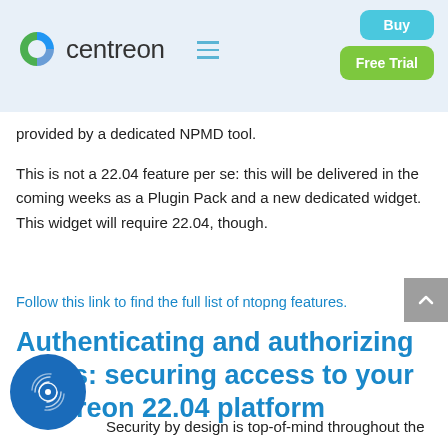centreon — Buy | Free Trial
provided by a dedicated NPMD tool.
This is not a 22.04 feature per se: this will be delivered in the coming weeks as a Plugin Pack and a new dedicated widget. This widget will require 22.04, though.
Follow this link to find the full list of ntopng features.
Authenticating and authorizing users: securing access to your Centreon 22.04 platform
Security by design is top-of-mind throughout the